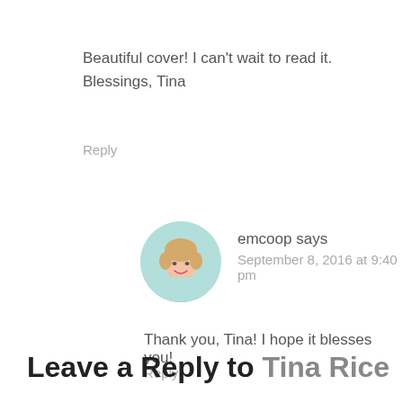Beautiful cover! I can't wait to read it.
Blessings, Tina
Reply
[Figure (photo): Circular avatar photo of a woman with blonde hair wearing a green shirt, smiling.]
emcoop says
September 8, 2016 at 9:40 pm
Thank you, Tina! I hope it blesses you!
Reply
Leave a Reply to Tina Rice